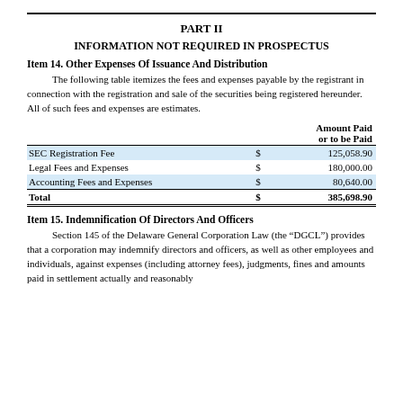PART II
INFORMATION NOT REQUIRED IN PROSPECTUS
Item 14. Other Expenses Of Issuance And Distribution
The following table itemizes the fees and expenses payable by the registrant in connection with the registration and sale of the securities being registered hereunder. All of such fees and expenses are estimates.
|  | Amount Paid or to be Paid |
| --- | --- |
| SEC Registration Fee | $ 125,058.90 |
| Legal Fees and Expenses | $ 180,000.00 |
| Accounting Fees and Expenses | $ 80,640.00 |
| Total | $ 385,698.90 |
Item 15. Indemnification Of Directors And Officers
Section 145 of the Delaware General Corporation Law (the “DGCL”) provides that a corporation may indemnify directors and officers, as well as other employees and individuals, against expenses (including attorney fees), judgments, fines and amounts paid in settlement actually and reasonably